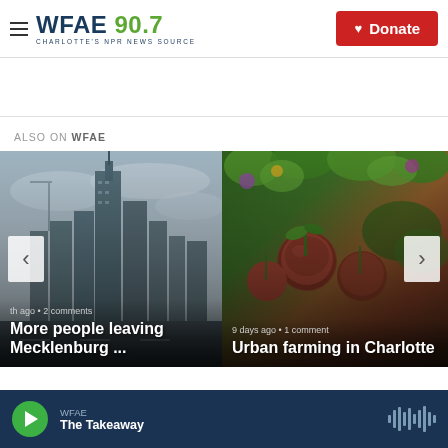[Figure (screenshot): WFAE 90.7 Charlotte's NPR News Source logo with hamburger menu]
Donate
ALSO ON WFAE
[Figure (photo): Charlotte city skyline with skyscrapers and construction crane under cloudy sky]
1 month ago • 2 comments
More people leaving Mecklenburg ...
[Figure (photo): Close-up of fresh vegetables including beets and leafy greens at a farm]
9 days ago • 1 comment
Urban farming in Charlotte
WFAE
The Takeaway